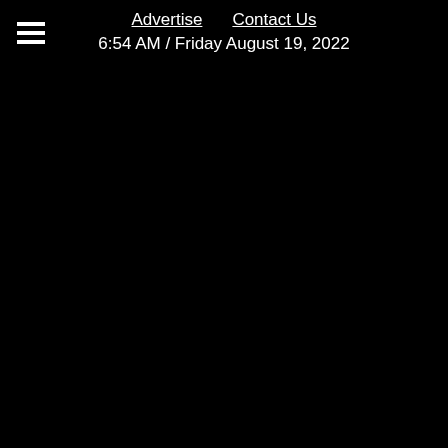Advertise  Contact Us
6:54 AM / Friday August 19, 2022